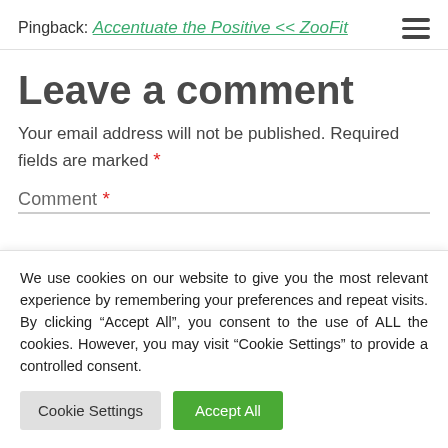Pingback: Accentuate the Positive << ZooFit
Leave a comment
Your email address will not be published. Required fields are marked *
Comment *
We use cookies on our website to give you the most relevant experience by remembering your preferences and repeat visits. By clicking "Accept All", you consent to the use of ALL the cookies. However, you may visit "Cookie Settings" to provide a controlled consent.